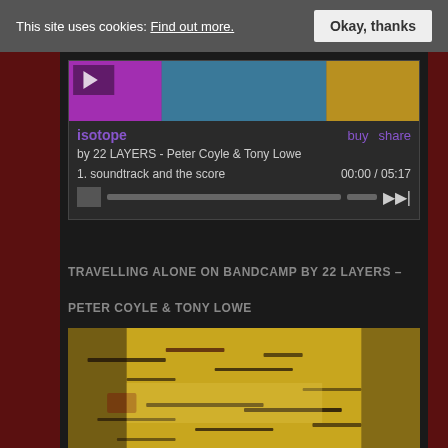This site uses cookies: Find out more. Okay, thanks
[Figure (screenshot): Music player widget for 'isotope' by 22 LAYERS - Peter Coyle & Tony Lowe, showing album art, buy/share links, track 1 'soundtrack and the score' at 00:00/05:17 with progress bar]
TRAVELLING ALONE ON BANDCAMP BY 22 LAYERS – PETER COYLE & TONY LOWE
[Figure (photo): Abstract golden/yellow textured artwork with dark script-like markings resembling ancient text or graffiti on a weathered surface]